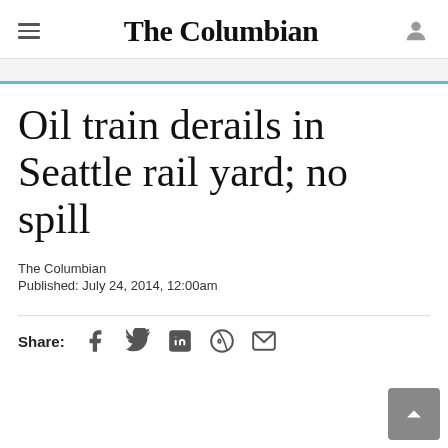The Columbian
Oil train derails in Seattle rail yard; no spill
The Columbian
Published: July 24, 2014, 12:00am